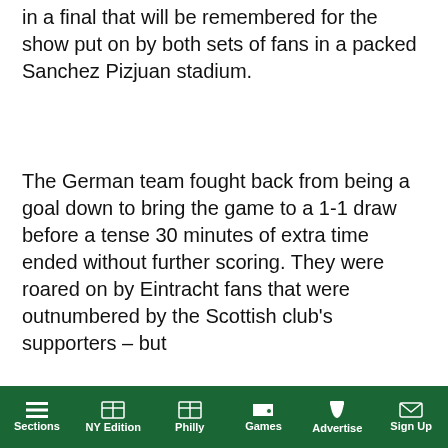in a final that will be remembered for the show put on by both sets of fans in a packed Sanchez Pizjuan stadium.
The German team fought back from being a goal down to bring the game to a 1-1 draw before a tense 30 minutes of extra time ended without further scoring. They were roared on by Eintracht fans that were outnumbered by the Scottish club's supporters – but [text continues] as the clock ticked
[Figure (screenshot): Video popup overlay showing 'Monterrey Women's first internati...' with a black video player area, a muted (orange) icon button, and an X close button on a dark header bar]
een piling into southern Spain's largest city over the previous few
Sections | NY Edition | Philly | Games | Advertise | Sign Up